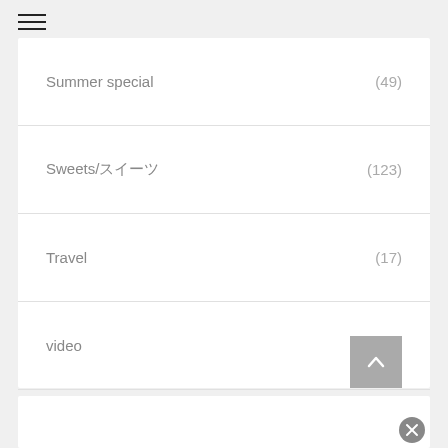Summer special (49)
Sweets/スイーツ (123)
Travel (17)
video (17)
Video Recipes (201)
videos (127)
Winter in Canada (2)